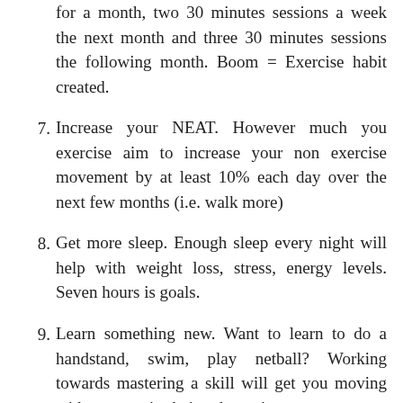for a month, two 30 minutes sessions a week the next month and three 30 minutes sessions the following month. Boom = Exercise habit created.
7. Increase your NEAT. However much you exercise aim to increase your non exercise movement by at least 10% each day over the next few months (i.e. walk more)
8. Get more sleep. Enough sleep every night will help with weight loss, stress, energy levels. Seven hours is goals.
9. Learn something new. Want to learn to do a handstand, swim, play netball? Working towards mastering a skill will get you moving without exercise being the main